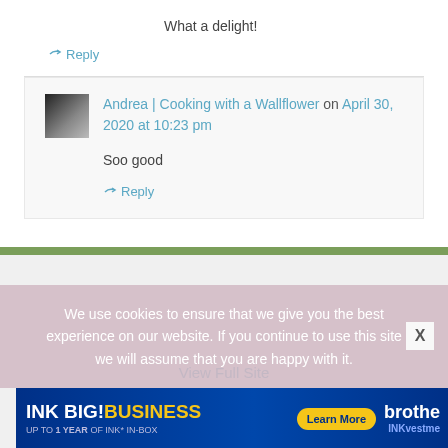What a delight!
↪ Reply
Andrea | Cooking with a Wallflower on April 30, 2020 at 10:23 pm
Soo good
↪ Reply
View Full Site
We use cookies to ensure that we give you the best experience on our website. If you continue to use this site we will assume that you are happy with it.
[Figure (other): Brother INK BIG! BUSINESS advertisement banner - UP TO 1 YEAR OF INK* IN-BOX, Learn More button, brother INKvestme text]